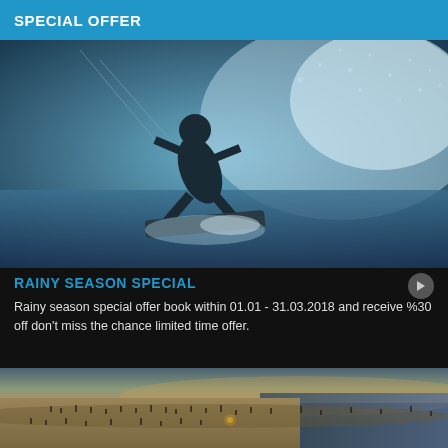SPECIAL OFFER
[Figure (photo): Black and white action photo of a kitesurfer mid-air with a board, water spray around them]
RAINY SEASON SPECIAL
Rainy season special offer book within 01.01 - 31.03.2018 and receive %30 off don't miss the chance limited time offer.
More
[Figure (photo): Aerial/wide shot of a crowded beach at dusk with people walking along the shore and calm ocean waves]